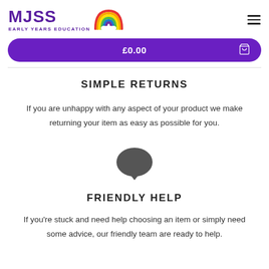MJSS EARLY YEARS EDUCATION
£0.00
SIMPLE RETURNS
If you are unhappy with any aspect of your product we make returning your item as easy as possible for you.
[Figure (illustration): Dark grey speech bubble / chat icon]
FRIENDLY HELP
If you're stuck and need help choosing an item or simply need some advice, our friendly team are ready to help.